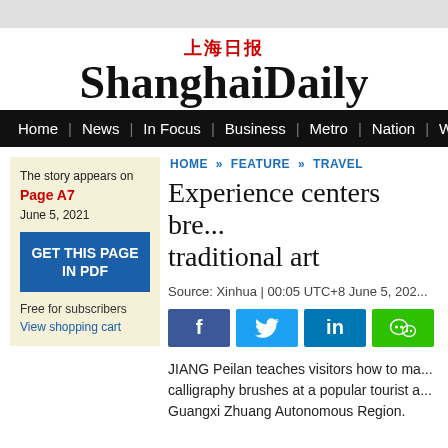上海日报 ShanghaiDaily
Home | News | In Focus | Business | Metro | Nation | Wor
HOME » FEATURE » TRAVEL
Experience centers bre... traditional art
Source: Xinhua | 00:05 UTC+8 June 5, 202...
The story appears on Page A7 June 5, 2021
GET THIS PAGE IN PDF
Free for subscribers View shopping cart
JIANG Peilan teaches visitors how to ma... calligraphy brushes at a popular tourist a... Guangxi Zhuang Autonomous Region.